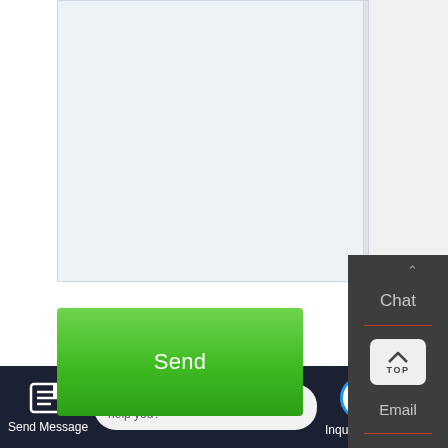[Figure (screenshot): A web page screenshot showing a contact/inquiry form area with a green 'Send' button, a dark sidebar on the right with 'Chat', a TOP button, and 'Email' labels, a WhatsApp icon with 'Contact us now!' green speech bubble, a blue email circle, and a dark bottom navigation bar with 'Send Message', a live chat bubble saying 'Hey, we are live 24/7. How may I help you?', and 'Inquiry Online' button with a blue chat icon.]